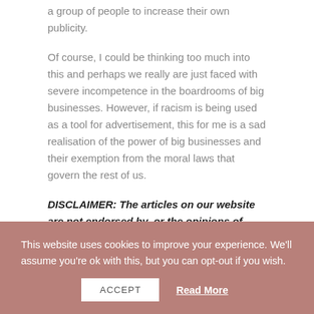a group of people to increase their own publicity.
Of course, I could be thinking too much into this and perhaps we really are just faced with severe incompetence in the boardrooms of big businesses. However, if racism is being used as a tool for advertisement, this for me is a sad realisation of the power of big businesses and their exemption from the moral laws that govern the rest of us.
DISCLAIMER: The articles on our website are not endorsed by, or the opinions of Shout Out UK (SOUK), but exclusively the views of the author.
This website uses cookies to improve your experience. We'll assume you're ok with this, but you can opt-out if you wish.